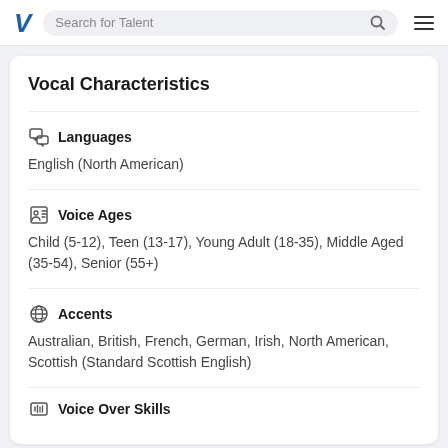Search for Talent
Vocal Characteristics
Languages
English (North American)
Voice Ages
Child (5-12), Teen (13-17), Young Adult (18-35), Middle Aged (35-54), Senior (55+)
Accents
Australian, British, French, German, Irish, North American, Scottish (Standard Scottish English)
Voice Over Skills